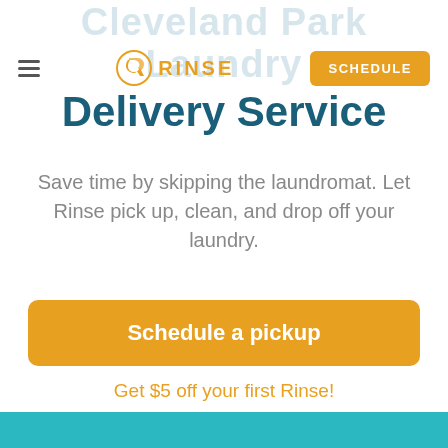[Figure (logo): Rinse logo with orange R icon and RINSE text in orange]
Delivery Service
Save time by skipping the laundromat. Let Rinse pick up, clean, and drop off your laundry.
Schedule a pickup
Get $5 off your first Rinse!